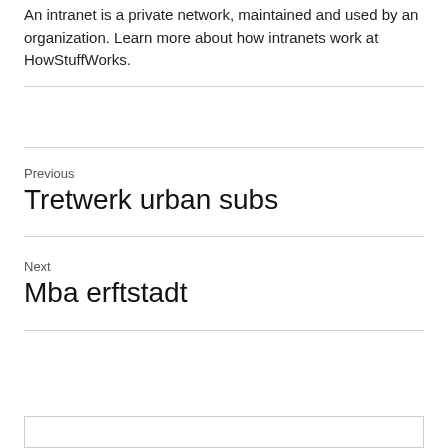An intranet is a private network, maintained and used by an organization. Learn more about how intranets work at HowStuffWorks.
Previous
Tretwerk urban subs
Next
Mba erftstadt